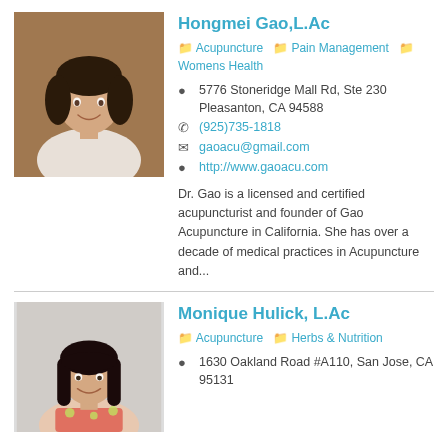[Figure (photo): Headshot of Hongmei Gao, a woman with short dark hair, smiling, wearing white, against a brown/tan background]
Hongmei Gao,L.Ac
Acupuncture  Pain Management  Womens Health
5776 Stoneridge Mall Rd, Ste 230 Pleasanton, CA 94588
(925)735-1818
gaoacu@gmail.com
http://www.gaoacu.com
Dr. Gao is a licensed and certified acupuncturist and founder of Gao Acupuncture in California. She has over a decade of medical practices in Acupuncture and...
[Figure (photo): Headshot of Monique Hulick, a woman with long dark hair, smiling, wearing a floral top, against a light background]
Monique Hulick, L.Ac
Acupuncture  Herbs & Nutrition
1630 Oakland Road #A110, San Jose, CA 95131